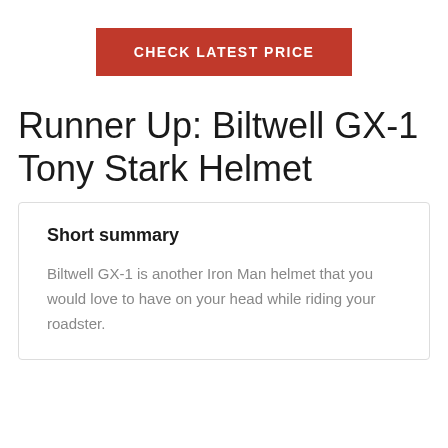CHECK LATEST PRICE
Runner Up: Biltwell GX-1 Tony Stark Helmet
Short summary
Biltwell GX-1 is another Iron Man helmet that you would love to have on your head while riding your roadster.